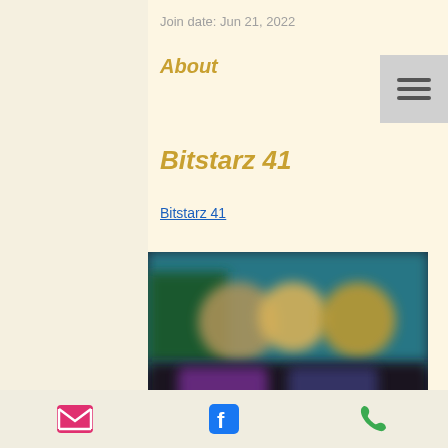Join date: Jun 21, 2022
About
Bitstarz 41
Bitstarz 41
[Figure (screenshot): Blurred screenshot of an online casino website (Bitstarz) showing game thumbnails and character images on a teal/dark background]
Email, Facebook, Phone icons